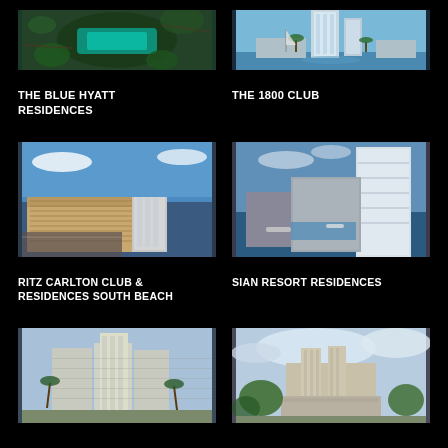[Figure (photo): Aerial view of The Blue Hyatt Residences, green/teal rooftop pool visible from above]
[Figure (photo): The 1800 Club high-rise tower with waterfront and blue sky]
THE BLUE HYATT RESIDENCES
THE 1800 CLUB
[Figure (photo): Ritz Carlton Club & Residences South Beach aerial view of curved hotel complex near beach]
[Figure (photo): Sian Resort Residences waterfront high-rise tower with pool area]
RITZ CARLTON CLUB & RESIDENCES SOUTH BEACH
SIAN RESORT RESIDENCES
[Figure (photo): Coastal high-rise residential building with palm trees]
[Figure (photo): Large resort hotel complex from aerial view with greenery]